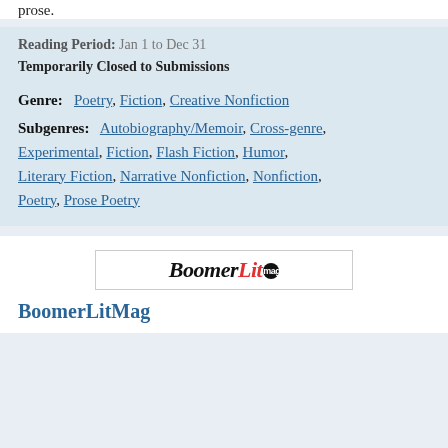prose.
Reading Period: Jan 1 to Dec 31
Temporarily Closed to Submissions
Genre: Poetry, Fiction, Creative Nonfiction
Subgenres: Autobiography/Memoir, Cross-genre, Experimental, Fiction, Flash Fiction, Humor, Literary Fiction, Narrative Nonfiction, Nonfiction, Poetry, Prose Poetry
[Figure (logo): BoomerLit magazine logo with 'Boomer' in bold italic black and 'Lit' in bold italic red, followed by a circular badge]
BoomerLitMag